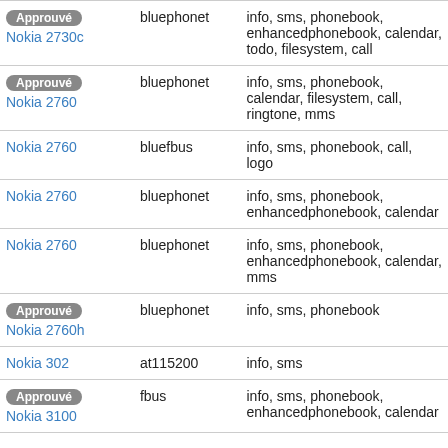| Device | Driver | Features |
| --- | --- | --- |
| Approuvé
Nokia 2730c | bluephonet | info, sms, phonebook, enhancedphonebook, calendar, todo, filesystem, call |
| Approuvé
Nokia 2760 | bluephonet | info, sms, phonebook, calendar, filesystem, call, ringtone, mms |
| Nokia 2760 | bluefbus | info, sms, phonebook, call, logo |
| Nokia 2760 | bluephonet | info, sms, phonebook, enhancedphonebook, calendar |
| Nokia 2760 | bluephonet | info, sms, phonebook, enhancedphonebook, calendar, mms |
| Approuvé
Nokia 2760h | bluephonet | info, sms, phonebook |
| Nokia 302 | at115200 | info, sms |
| Approuvé
Nokia 3100 | fbus | info, sms, phonebook, enhancedphonebook, calendar |